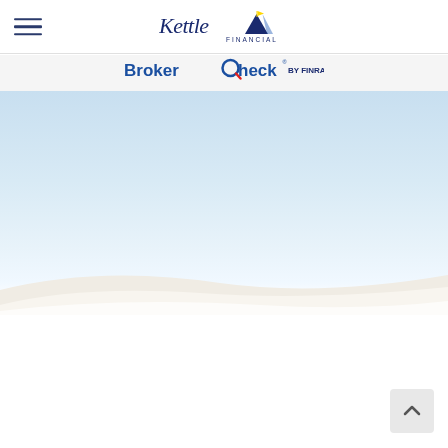Kettle Financial — BrokerCheck by FINRA
[Figure (logo): Kettle Financial logo with mountain and flag illustration, text reads 'Kettle FINANCIAL']
[Figure (logo): BrokerCheck by FINRA logo — magnifying glass icon with 'BrokerCheck' in blue/red and 'by FINRA' in dark blue]
[Figure (photo): Hero photograph of white sand dunes under a pale blue sky, minimalist landscape]
[Figure (other): Back-to-top arrow button in bottom right corner]